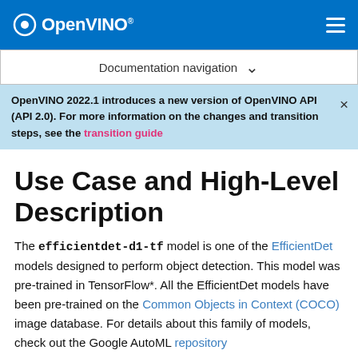OpenVINO
Documentation navigation
OpenVINO 2022.1 introduces a new version of OpenVINO API (API 2.0). For more information on the changes and transition steps, see the transition guide
Use Case and High-Level Description
The efficientdet-d1-tf model is one of the EfficientDet models designed to perform object detection. This model was pre-trained in TensorFlow*. All the EfficientDet models have been pre-trained on the Common Objects in Context (COCO) image database. For details about this family of models, check out the Google AutoML repository